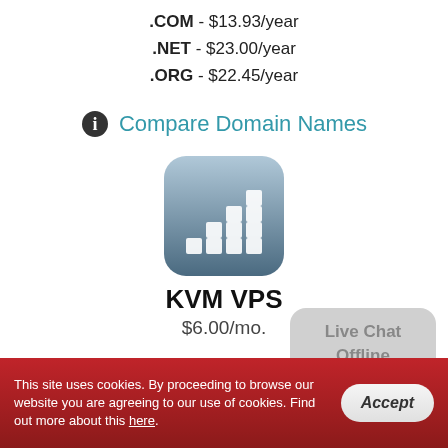.COM - $13.93/year
.NET - $23.00/year
.ORG - $22.45/year
Compare Domain Names
[Figure (logo): KVM VPS app icon — rounded square with blue-grey gradient background and white bar chart squares]
KVM VPS
$6.00/mo.
1 CPU Core(s)
1024 MB RAM
20 GB Disk Space
Live Chat Offline
This site uses cookies. By proceeding to browse our website you are agreeing to our use of cookies. Find out more about this here.